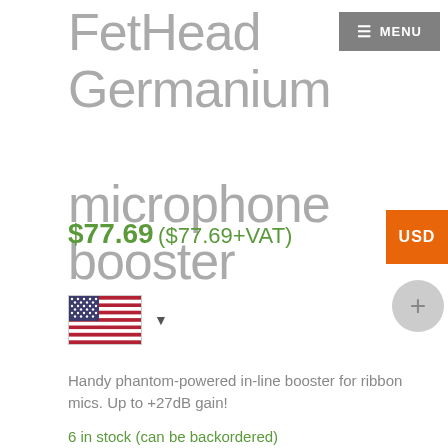≡ MENU
FetHead Germanium microphone booster
$77.69 ($77.69+VAT)
[Figure (illustration): US flag icon with dropdown arrow and USD currency badge]
Handy phantom-powered in-line booster for ribbon mics. Up to +27dB gain!
6 in stock (can be backordered)